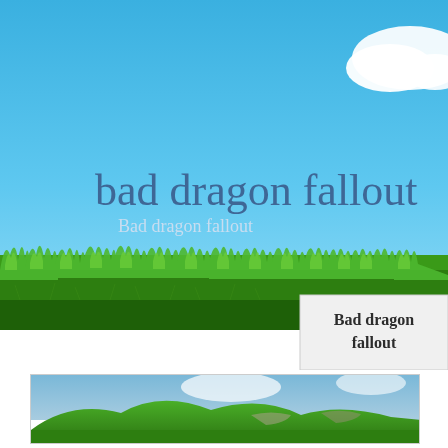[Figure (illustration): Large banner image showing bright blue sky with a white cloud in the upper right, and a strip of lush green grass in the lower third. Overlaid text reads 'bad dragon fallout' in large dark blue serif font and below it 'Bad dragon fallout' in smaller lighter text. A white/grey box in the lower right contains the text 'Bad dragon fallout' in dark serif font.]
[Figure (photo): A cropped landscape photo showing rolling green hills with patches of grey rock under a blue sky with clouds, partially visible at the bottom of the page within a light grey bordered frame.]